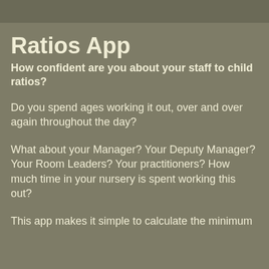Ratios App
How confident are you about your staff to child ratios?
Do you spend ages working it out, over and over again throughout the day?
What about your Manager? Your Deputy Manager? Your Room Leaders? Your practitioners? How much time in your nursery is spent working this out?
This app makes it simple to calculate the minimum